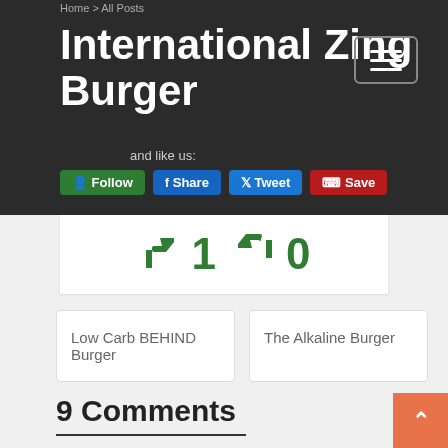Home > All Posts
International Zing Burger
and like us:
Follow  Share  Tweet  Save
[Figure (infographic): Thumbs up icon with count 1 and thumbs down icon with count 0, both in green]
Low Carb BEHIND Burger
The Alkaline Burger
9 Comments
Anonymous April 21, 2020 at 4:47 pm
I've always loved Zing burger but now I am even more excited that there is a healthy